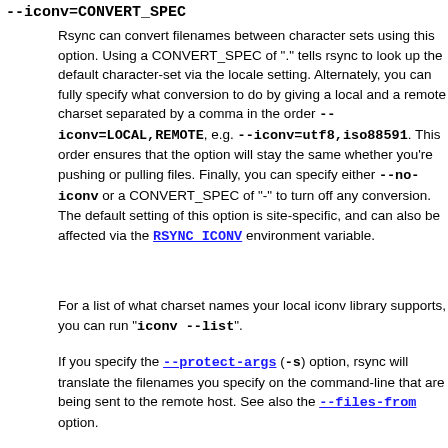--iconv=CONVERT_SPEC
Rsync can convert filenames between character sets using this option. Using a CONVERT_SPEC of "." tells rsync to look up the default character-set via the locale setting. Alternately, you can fully specify what conversion to do by giving a local and a remote charset separated by a comma in the order --iconv=LOCAL,REMOTE, e.g. --iconv=utf8,iso88591. This order ensures that the option will stay the same whether you're pushing or pulling files. Finally, you can specify either --no-iconv or a CONVERT_SPEC of "-" to turn off any conversion. The default setting of this option is site-specific, and can also be affected via the RSYNC_ICONV environment variable.
For a list of what charset names your local iconv library supports, you can run "iconv --list".
If you specify the --protect-args (-s) option, rsync will translate the filenames you specify on the command-line that are being sent to the remote host. See also the --files-from option.